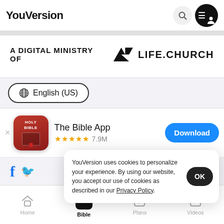YouVersion
[Figure (logo): A DIGITAL MINISTRY OF LIFE.CHURCH logo]
English (US)
[Figure (illustration): The Bible App icon - red book with HOLY BIBLE text]
The Bible App ★★★★★ 7.9M Download
YouVersion uses cookies to personalize your experience. By using our website, you accept our use of cookies as described in our Privacy Policy.
Home | Bible | Plans | Videos